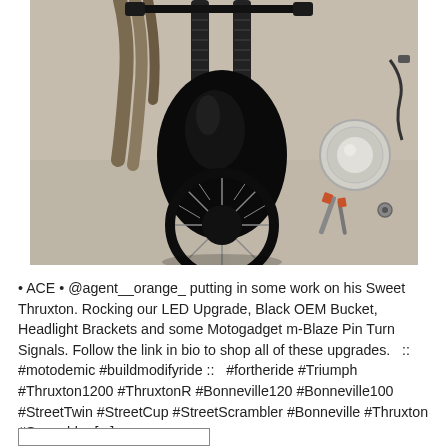[Figure (photo): Overhead/front view of a black Triumph Thruxton motorcycle on a concrete garage floor, showing front forks, handlebars, exhaust pipes, and front wheel. Tools and a round headlight bucket are visible on the floor to the right.]
• ACE • @agent__orange_ putting in some work on his Sweet Thruxton. Rocking our LED Upgrade, Black OEM Bucket, Headlight Brackets and some Motogadget m-Blaze Pin Turn Signals. Follow the link in bio to shop all of these upgrades.   ::   #motodemic #buildmodifyride ::   #fortheride #Triumph #Thruxton1200 #ThruxtonR #Bonneville120 #Bonneville100 #StreetTwin #StreetCup #StreetScrambler #Bonneville #Thruxton #Scrambler [...]